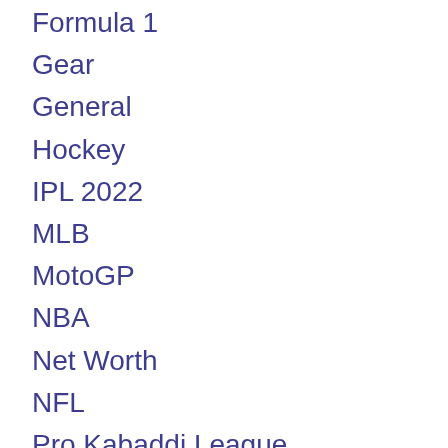Formula 1
Gear
General
Hockey
IPL 2022
MLB
MotoGP
NBA
Net Worth
NFL
Pro Kabaddi League
Racquetball
Relationship
Reviews